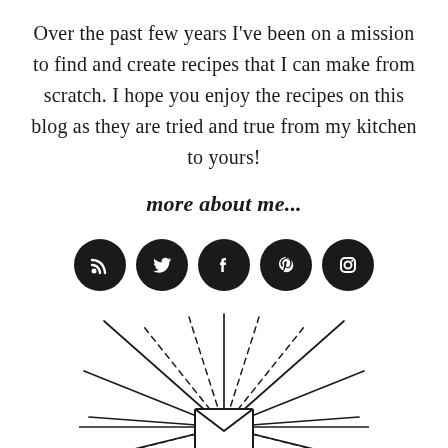Over the past few years I've been on a mission to find and create recipes that I can make from scratch. I hope you enjoy the recipes on this blog as they are tried and true from my kitchen to yours!
more about me...
[Figure (illustration): Five dark circular social media icon buttons in a row: RSS, Twitter, Facebook, Pinterest, Instagram]
[Figure (illustration): A decorative sunburst/starburst illustration with an envelope icon in the center and radiating lines]
DON'T MISS A RECIPE!